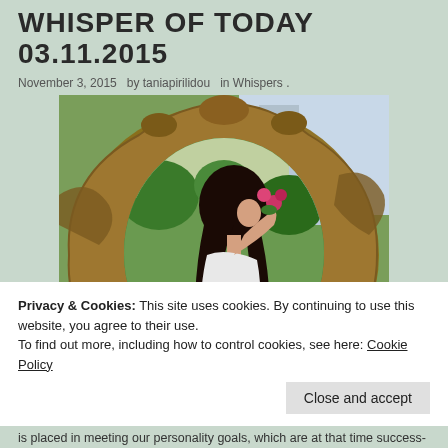WHISPER OF TODAY 03.11.2015
November 3, 2015   by  taniapirilidou   in  Whispers .
[Figure (photo): A woman with dark curly hair wearing a white dress, smelling pink flowers, viewed through an oval decorative wooden mirror frame surrounded by greenery]
Privacy & Cookies: This site uses cookies. By continuing to use this website, you agree to their use.
To find out more, including how to control cookies, see here: Cookie Policy
Close and accept
is placed in meeting our personality goals, which are at that time success-